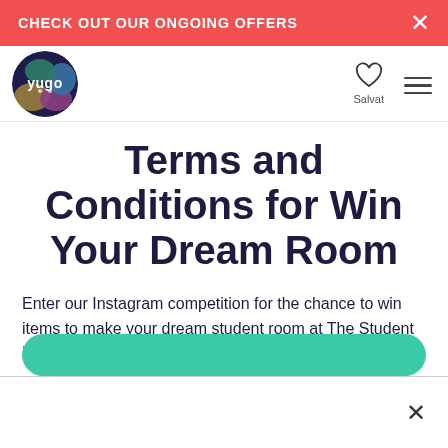CHECK OUT OUR ONGOING OFFERS
[Figure (logo): Yugo circular logo with colorful shapes and white 'yugo' text]
Terms and Conditions for Win Your Dream Room
Enter our Instagram competition for the chance to win items to make your dream student room at The Student Housing Company!